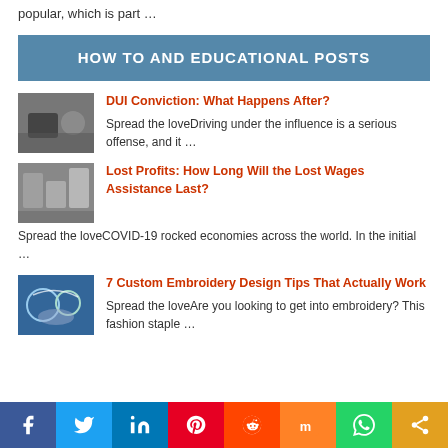popular, which is part …
HOW TO AND EDUCATIONAL POSTS
DUI Conviction: What Happens After? — Spread the loveDriving under the influence is a serious offense, and it …
Lost Profits: How Long Will the Lost Wages Assistance Last? — Spread the loveCOVID-19 rocked economies across the world. In the initial …
7 Custom Embroidery Design Tips That Actually Work — Spread the loveAre you looking to get into embroidery? This fashion staple …
[Figure (infographic): Social sharing bar with Facebook, Twitter, LinkedIn, Pinterest, Reddit, Mix, WhatsApp, and Share buttons]